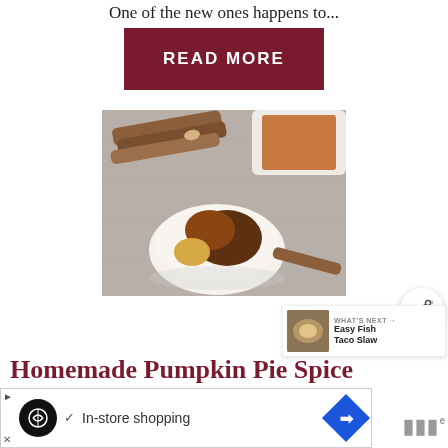One of the new ones happens to...
[Figure (other): Dark red READ MORE button]
[Figure (photo): Overhead photo of pumpkin pie spice ingredients: cinnamon sticks, a white bowl with mounds of spices (ginger, cinnamon, nutmeg), and a white tray with brown spice powder, on a gray wooden surface]
[Figure (other): Share button (circular white button with share icon)]
[Figure (other): What's Next card showing thumbnail of food and text: Easy Fish Taco Slaw]
Homemade Pumpkin Pie Spice
[Figure (other): Advertisement bar: In-store shopping with icons]